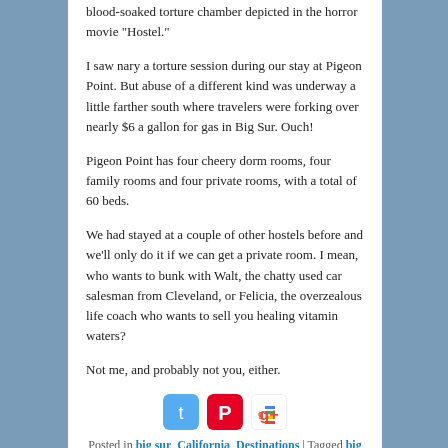blood-soaked torture chamber depicted in the horror movie “Hostel.”
I saw nary a torture session during our stay at Pigeon Point. But abuse of a different kind was underway a little farther south where travelers were forking over nearly $6 a gallon for gas in Big Sur. Ouch!
Pigeon Point has four cheery dorm rooms, four family rooms and four private rooms, with a total of 60 beds.
We had stayed at a couple of other hostels before and we’ll only do it if we can get a private room. I mean, who wants to bunk with Walt, the chatty used car salesman from Cleveland, or Felicia, the overzealous life coach who wants to sell you healing vitamin waters?
Not me, and probably not you, either.
[Figure (infographic): Social media sharing icons: Twitter (blue bird), Pinterest (red P), Google+ (colorful plus)]
Posted in big sur, California, Destinations | Tagged big sur, California, pigeon point lighthouse | Leave a reply